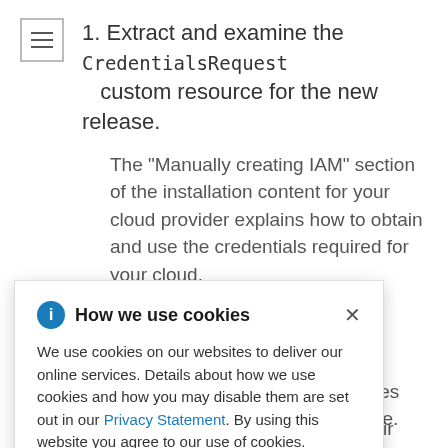1. Extract and examine the CredentialsRequest custom resource for the new release.
The "Manually creating IAM" section of the installation content for your cloud provider explains how to obtain and use the credentials required for your cloud.
2. Update the manually maintained credentials on your cluster.
[Figure (screenshot): Cookie consent popup dialog with title 'How we use cookies', information icon, close button (x), and body text explaining cookie usage with a Privacy Statement link.]